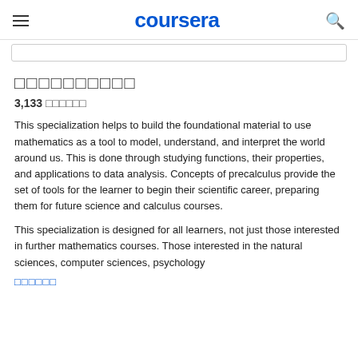coursera
□□□□□□□□□□
3,133 □□□□□□
This specialization helps to build the foundational material to use mathematics as a tool to model, understand, and interpret the world around us.  This is done through studying functions, their properties, and applications to data analysis.  Concepts of precalculus provide the set of tools for the learner to begin their scientific career, preparing them for future science and calculus courses.
This specialization is designed for all learners, not just those interested in further mathematics courses.  Those interested in the natural sciences, computer sciences, psychology
□□□□□□